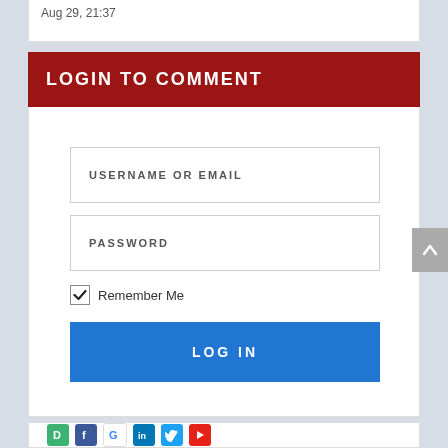Aug 29, 21:37
LOGIN TO COMMENT
USERNAME OR EMAIL
PASSWORD
Remember Me
LOG IN
[Figure (infographic): Social media icons row: Disqus (green), Facebook (blue), Google (white/colorful), LinkedIn (teal), Twitter (light blue), YouTube (red)]